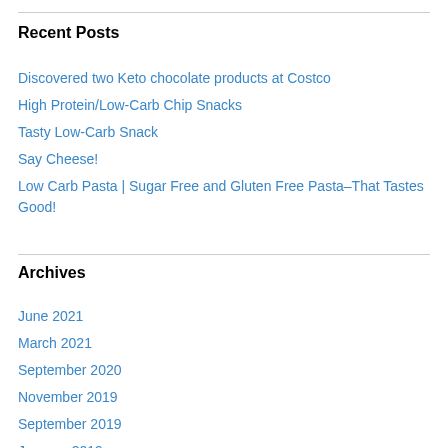Recent Posts
Discovered two Keto chocolate products at Costco
High Protein/Low-Carb Chip Snacks
Tasty Low-Carb Snack
Say Cheese!
Low Carb Pasta | Sugar Free and Gluten Free Pasta–That Tastes Good!
Archives
June 2021
March 2021
September 2020
November 2019
September 2019
January 2019
October 2018